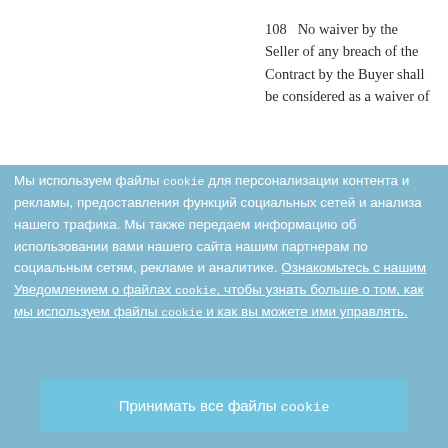108   No waiver by the Seller of any breach of the Contract by the Buyer shall be considered as a waiver of
Мы используем файлы cookie для персонализации контента и рекламы, предоставления функций социальных сетей и анализа нашего трафика. Мы также передаем информацию об использовании вами нашего сайта нашим партнерам по социальным сетям, рекламе и аналитике. Ознакомьтесь с нашим Уведомлением о файлах cookie, чтобы узнать больше о том, как мы используем файлы cookie и как вы можете ими управлять.
Настройки файлов cookie
Принимать все файлы cookie